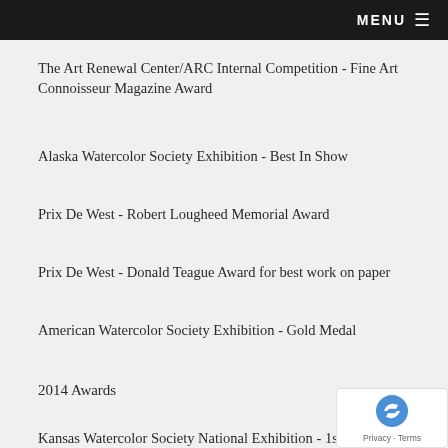MENU
The Art Renewal Center/ARC Internal Competition - Fine Art Connoisseur Magazine Award
Alaska Watercolor Society Exhibition - Best In Show
Prix De West - Robert Lougheed Memorial Award
Prix De West - Donald Teague Award for best work on paper
American Watercolor Society Exhibition - Gold Medal
2014 Awards
Kansas Watercolor Society National Exhibition - 1st Pl…
Buffalo Bill Art Show - Purchase Prize Award